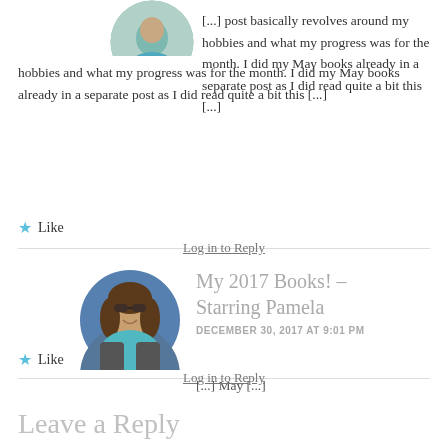[Figure (photo): Circular avatar photo of a person wearing teal/cyan top, partially visible at top of page]
[...] post basically revolves around my hobbies and what my progress was for the month. I did my May books already in a separate post as I did read quite a bit this [...]
★ Like
Log in to Reply
[Figure (photo): Circular avatar photo of a smiling woman with long brown hair wearing a teal/turquoise shirt, outdoors]
My 2017 Books! – Starring Pamela
DECEMBER 30, 2017 AT 9:01 PM
[...] May [...]
★ Like
Log in to Reply
Leave a Reply